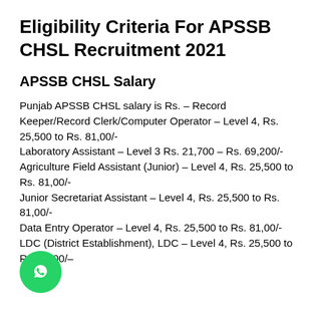Eligibility Criteria For APSSB CHSL Recruitment 2021
APSSB CHSL Salary
Punjab APSSB CHSL salary is Rs. – Record Keeper/Record Clerk/Computer Operator – Level 4, Rs. 25,500 to Rs. 81,00/-
Laboratory Assistant – Level 3 Rs. 21,700 – Rs. 69,200/-
Agriculture Field Assistant (Junior) – Level 4, Rs. 25,500 to Rs. 81,00/-
Junior Secretariat Assistant – Level 4, Rs. 25,500 to Rs. 81,00/-
Data Entry Operator – Level 4, Rs. 25,500 to Rs. 81,00/-
LDC (District Establishment), LDC – Level 4, Rs. 25,500 to Rs. 81,00/–
[Figure (illustration): WhatsApp contact button (green circle with phone handset icon)]